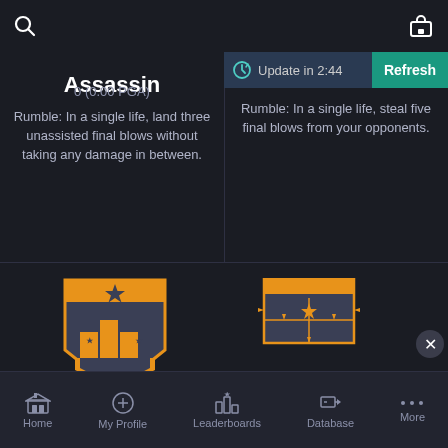[Figure (screenshot): Mobile app screenshot showing achievements screen with Assassin and Podium Finish badges, TRN Tracker Network overlay, and bottom navigation bar]
Assassin
0 (0.00 PGA)
Rumble: In a single life, land three unassisted final blows without taking any damage in between.
Update in 2:44
Refresh
Rumble: In a single life, steal five final blows from your opponents.
Podium Finish
0 (0.00 PGA)
TRN
TRACKER NETWORK
Home  My Profile  Leaderboards  Database  More